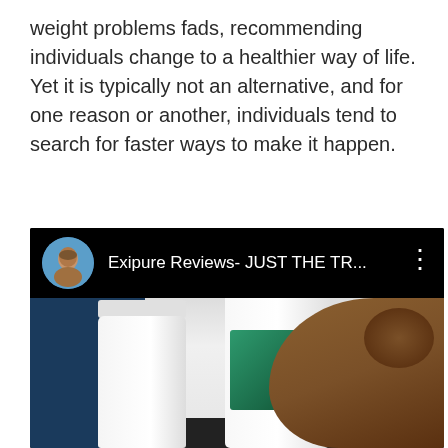weight problems fads, recommending individuals change to a healthier way of life. Yet it is typically not an alternative, and for one reason or another, individuals tend to search for faster ways to make it happen.
[Figure (screenshot): YouTube video thumbnail showing 'Exipure Reviews- JUST THE TR...' with a circular avatar of a man on a beach, three-dot menu icon, and a video thumbnail showing supplement bottles and a person's head with hair bun]